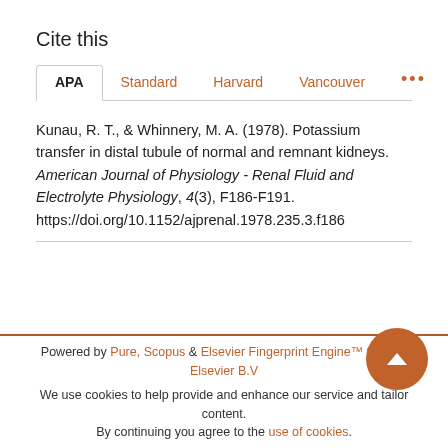Cite this
APA   Standard   Harvard   Vancouver   ...
Kunau, R. T., & Whinnery, M. A. (1978). Potassium transfer in distal tubule of normal and remnant kidneys. American Journal of Physiology - Renal Fluid and Electrolyte Physiology, 4(3), F186-F191. https://doi.org/10.1152/ajprenal.1978.235.3.f186
Powered by Pure, Scopus & Elsevier Fingerprint Engine™ © 2022 Elsevier B.V
We use cookies to help provide and enhance our service and tailor content.
By continuing you agree to the use of cookies.